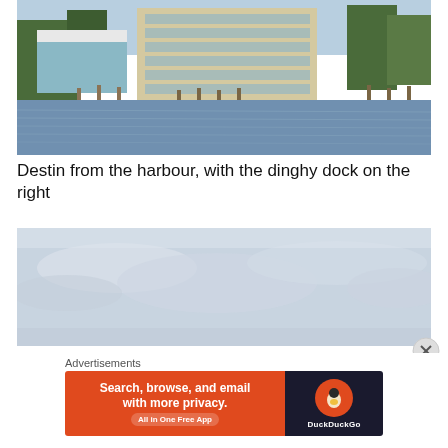[Figure (photo): Coastal waterfront scene showing a multi-story condominium building and marina docks along a harbour, with palm trees and water in the foreground]
Destin from the harbour, with the dinghy dock on the right
[Figure (photo): Sky with clouds, partial coastal scene, bottom portion of a waterfront photo]
Advertisements
[Figure (screenshot): DuckDuckGo advertisement banner: 'Search, browse, and email with more privacy. All in One Free App' with DuckDuckGo logo on dark background]